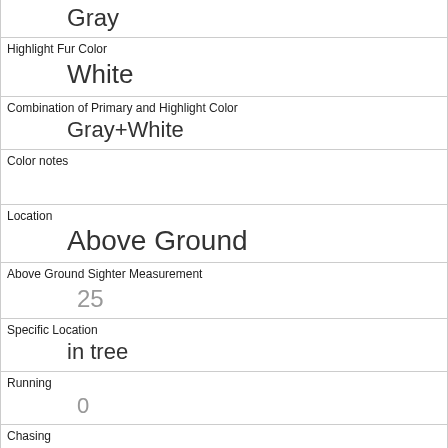|  | Gray |
| Highlight Fur Color | White |
| Combination of Primary and Highlight Color | Gray+White |
| Color notes |  |
| Location | Above Ground |
| Above Ground Sighter Measurement | 25 |
| Specific Location | in tree |
| Running | 0 |
| Chasing | 1 |
| Climbing | 0 |
| Eating |  |